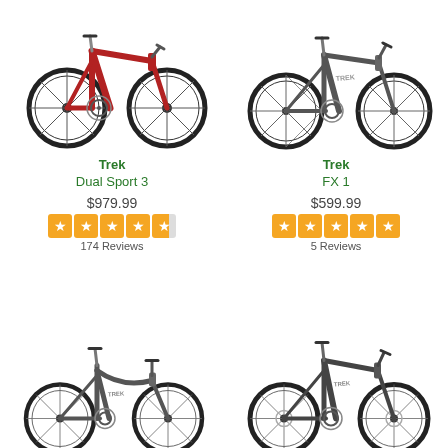[Figure (photo): Red Trek Dual Sport 3 mountain/hybrid bicycle, front three-quarter view]
[Figure (photo): Grey Trek FX 1 fitness hybrid bicycle, side view]
Trek
Dual Sport 3
$979.99
4.5 stars
174 Reviews
Trek
FX 1
$599.99
5 stars
5 Reviews
[Figure (photo): Grey Trek women's fitness hybrid bicycle, side view]
[Figure (photo): Grey Trek hybrid bicycle with disc brakes, side view]